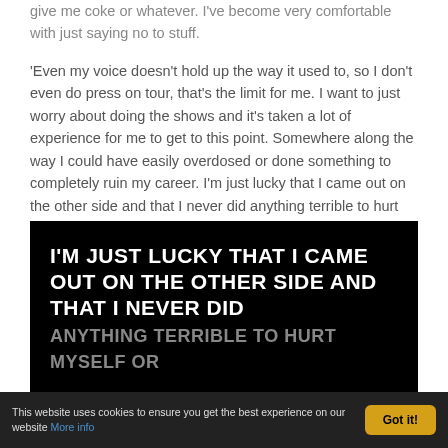give me coke or whatever. I've become very comfortable with just saying no to stuff.
'Even my voice doesn't hold up the way it used to, so I don't even do press on tour, that's the limit for me. I want to just worry about doing the shows and it's taken a lot of experience for me to get to this point. Somewhere along the way I could have easily overdosed or done something to completely ruin my career. I'm just lucky that I came out on the other side and that I never did anything terrible to hurt myself or somebody else.
[Figure (other): Black background pull-quote block with white bold uppercase text: 'I'M JUST LUCKY THAT I CAME OUT ON THE OTHER SIDE AND THAT I NEVER DID ANYTHING TERRIBLE TO HURT MYSELF OR...' (truncated)]
This website uses cookies to ensure you get the best experience on our website More info  Got it!